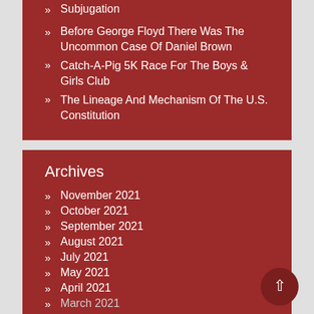Subjugation
Before George Floyd There Was The Uncommon Case Of Daniel Brown
Catch-A-Pig 5K Race For The Boys & Girls Club
The Lineage And Mechanism Of The U.S. Constitution
Archives
November 2021
October 2021
September 2021
August 2021
July 2021
May 2021
April 2021
March 2021